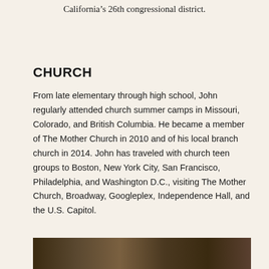California's 26th congressional district.
CHURCH
From late elementary through high school, John regularly attended church summer camps in Missouri, Colorado, and British Columbia. He became a member of The Mother Church in 2010 and of his local branch church in 2014. John has traveled with church teen groups to Boston, New York City, San Francisco, Philadelphia, and Washington D.C., visiting The Mother Church, Broadway, Googleplex, Independence Hall, and the U.S. Capitol.
[Figure (photo): Photograph at the bottom of the page, partially visible]